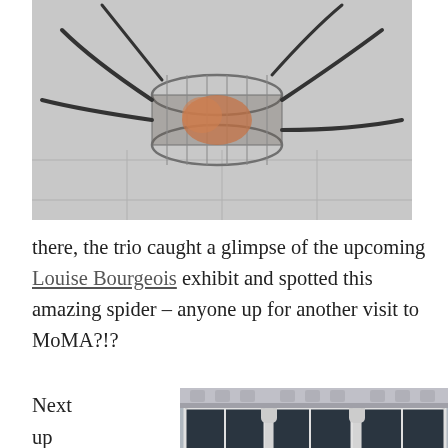[Figure (photo): A cylindrical wire mesh sculpture/cage-like art installation with dark curved elements extending outward, resembling a spider or creature, on a light marble floor]
there, the trio caught a glimpse of the upcoming Louise Bourgeois exhibit and spotted this amazing spider – anyone up for another visit to MoMA?!?
Next up was the Donald Judd Home tour in
[Figure (photo): Exterior facade of a building with large industrial-style windows, ornate cast iron columns and arched decorative elements above windows, in a SoHo-style loft building]